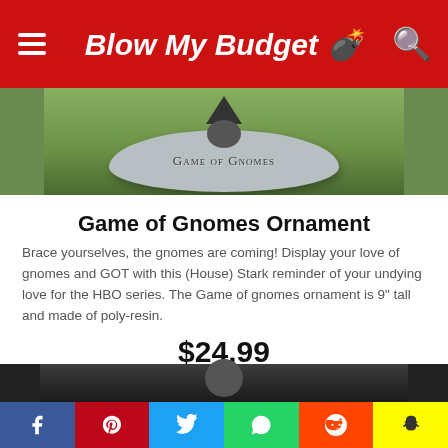Blow My Budget 💣
[Figure (photo): A stone garden ornament shaped with 'Game of Gnomes' engraved on it, sitting on grass.]
Game of Gnomes Ornament
Brace yourselves, the gnomes are coming! Display your love of gnomes and GOT with this (House) Stark reminder of your undying love for the HBO series. The Game of gnomes ornament is 9" tall and made of poly-resin.
$24.99
Check it out
[Figure (photo): Partial view of another product image — dark wood surface.]
f  Pinterest  Twitter  WhatsApp  Reddit  Snapchat